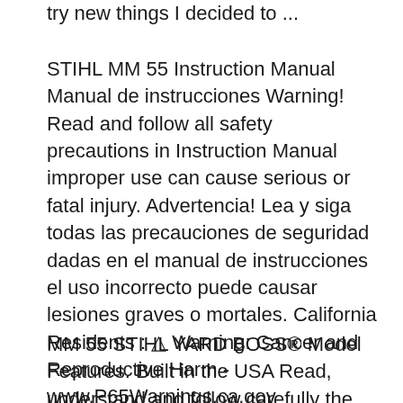try new things I decided to ...
STIHL MM 55 Instruction Manual Manual de instrucciones Warning! Read and follow all safety precautions in Instruction Manual  improper use can cause serious or fatal injury. Advertencia! Lea y siga todas las precauciones de seguridad dadas en el manual de instrucciones  el uso incorrecto puede causar lesiones graves o mortales. California Residents : ⚠ Warning: Cancer and Reproductive Harm - www.P65Warnings.ca.gov
MM 55 STIHL YARD BOSS® Model Features. Built in the USA Read, understand and follow carefully the